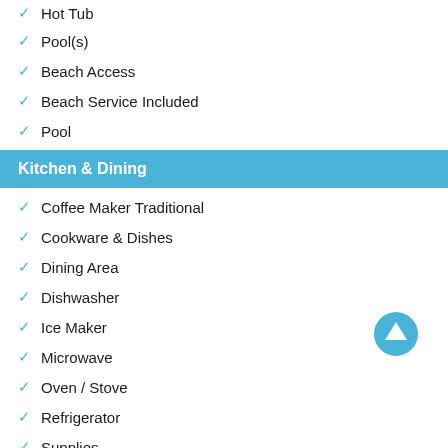Hot Tub
Pool(s)
Beach Access
Beach Service Included
Pool
Kitchen & Dining
Coffee Maker Traditional
Cookware & Dishes
Dining Area
Dishwasher
Ice Maker
Microwave
Oven / Stove
Refrigerator
Supplies